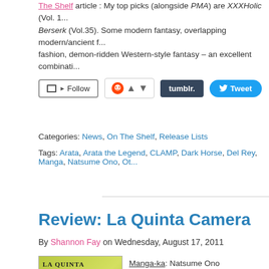The Shelf article. My top picks (alongside PMA) are XXXHolic (Vol. 1...) Berserk (Vol.35). Some modern fantasy, overlapping modern/ancient fashion, demon-ridden Western-style fantasy – an excellent combinati...
[Figure (screenshot): Social sharing buttons: Follow, Reddit upvote/downvote, Tumblr, Tweet]
Categories: News, On The Shelf, Release Lists
Tags: Arata, Arata the Legend, CLAMP, Dark Horse, Del Rey, Manga, Natsume Ono, Ot...
Review: La Quinta Camera
By Shannon Fay on Wednesday, August 17, 2011
[Figure (photo): Book cover of La Quinta Camera - The Fifth Room by Natsume Ono, showing manga characters on a green background]
Manga-ka: Natsume Ono
Publisher: Viz Media
Rating: Teen (13+)
Release Date: July 2011
Synopsis: "An apartment in Italy. In four of the r... singular personalities. Into this peculiar ménage... tenant of the fifth room. Brought together by cha... their dreams together as the days drift gently by...
Over the past year I have become a big fan of N... is currently one of my favourite manga and I'm... work being licensed. La Quinta Camera is a so...
[Figure (screenshot): Amazon.ca and Amazon.com purchase buttons]